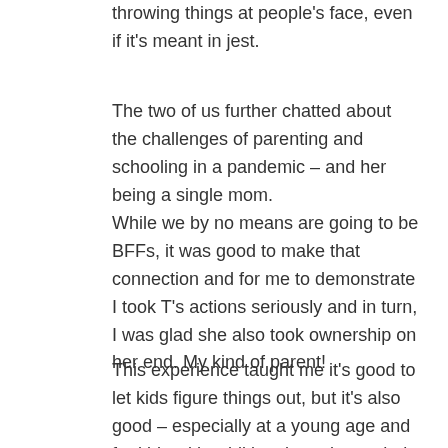throwing things at people's face, even if it's meant in jest.
The two of us further chatted about the challenges of parenting and schooling in a pandemic – and her being a single mom.
While we by no means are going to be BFFs, it was good to make that connection and for me to demonstrate I took T's actions seriously and in turn, I was glad she also took ownership on her end. My kind of parent!
This experience taught me it's good to let kids figure things out, but it's also good – especially at a young age and for kids with additional needs – to help pave the path for T to maximize his success with important matters like his social experience